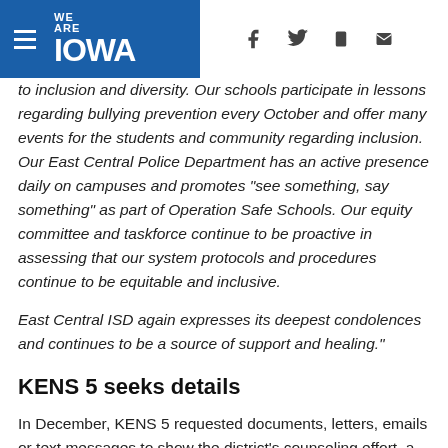WE ARE IOWA
to inclusion and diversity. Our schools participate in lessons regarding bullying prevention every October and offer many events for the students and community regarding inclusion. Our East Central Police Department has an active presence daily on campuses and promotes "see something, say something" as part of Operation Safe Schools. Our equity committee and taskforce continue to be proactive in assessing that our system protocols and procedures continue to be equitable and inclusive.

East Central ISD again expresses its deepest condolences and continues to be a source of support and healing."
KENS 5 seeks details
In December, KENS 5 requested documents, letters, emails or text messages to show the district's counseling effort, a copy of any letters sent home to parents regarding Jeffon's